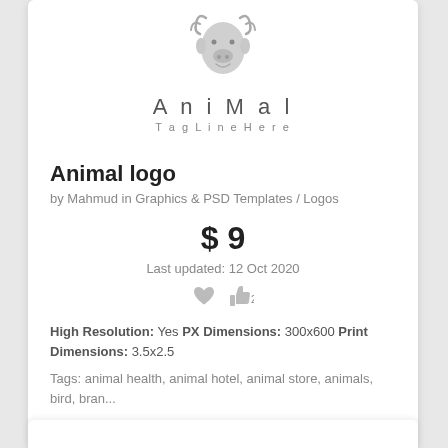[Figure (logo): Animal logo: stylized deer/reindeer face with text 'AniMal' and 'Tag Line Here']
Animal logo
by Mahmud in Graphics & PSD Templates / Logos
$ 9
Last updated: 12 Oct 2020
[Figure (illustration): Heart icon and thumbs-up icon with count 2]
High Resolution: Yes PX Dimensions: 300x600 Print Dimensions: 3.5x2.5
Tags: animal health, animal hotel, animal store, animals, bird, bran...
Buy Now